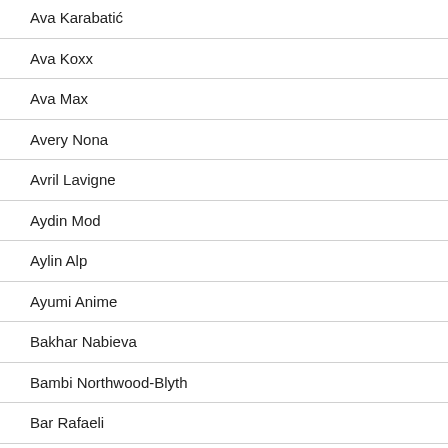Ava Karabatić
Ava Koxx
Ava Max
Avery Nona
Avril Lavigne
Aydin Mod
Aylin Alp
Ayumi Anime
Bakhar Nabieva
Bambi Northwood-Blyth
Bar Rafaeli